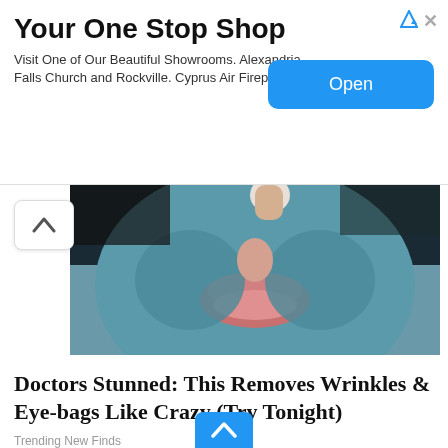Your One Stop Shop
Visit One of Our Beautiful Showrooms. Alexandria, Falls Church and Rockville. Cyprus Air Fireplaces
[Figure (photo): Advertisement banner with Open button and ad icons]
[Figure (photo): Close-up photo of a person's face with a blue/teal clay face mask applied, lips visible with pink color]
Doctors Stunned: This Removes Wrinkles & Eye-bags Like Crazy (Try Tonight)
Trending New Finds